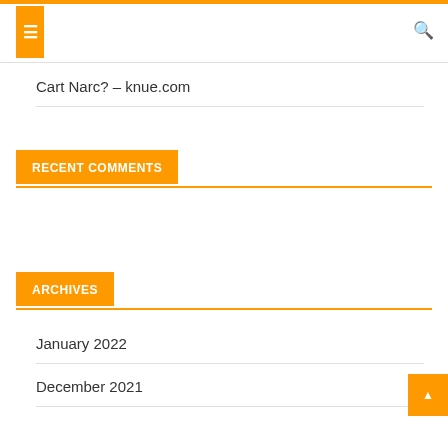Cart Narc? – knue.com
RECENT COMMENTS
ARCHIVES
January 2022
December 2021